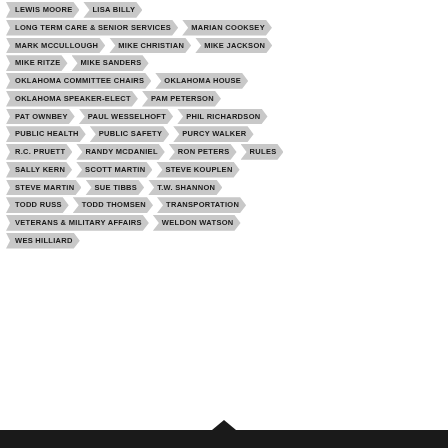LEWIS MOORE
LISA BILLY
LONG TERM CARE & SENIOR SERVICES
MARIAN COOKSEY
MARK MCCULLOUGH
MIKE CHRISTIAN
MIKE JACKSON
MIKE RITZE
MIKE SANDERS
OKLAHOMA COMMITTEE CHAIRS
OKLAHOMA HOUSE
OKLAHOMA SPEAKER-ELECT
PAM PETERSON
PAT OWNBEY
PAUL WESSELHOFT
PHIL RICHARDSON
PUBLIC HEALTH
PUBLIC SAFETY
PURCY WALKER
R.C. PRUETT
RANDY MCDANIEL
RON PETERS
RULES
SALLY KERN
SCOTT MARTIN
STEVE KOUPLEN
STEVE MARTIN
SUE TIBBS
T.W. SHANNON
TODD RUSS
TODD THOMSEN
TRANSPORTATION
VETERANS & MILITARY AFFAIRS
WELDON WATSON
WES HILLIARD